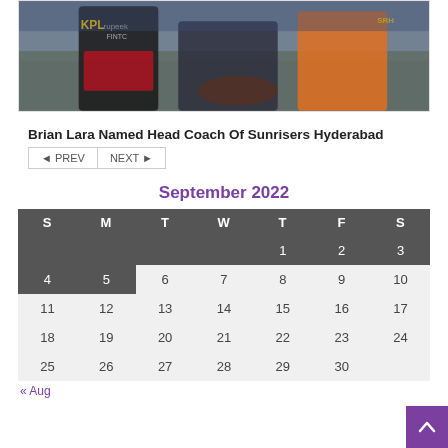[Figure (photo): Cricket players in IPL jerseys, one in orange Sunrisers Hyderabad kit, others in black/red KKR kit. IPL and rupeek logos visible.]
Brian Lara Named Head Coach Of Sunrisers Hyderabad
◄ PREV   NEXT ►
September 2022
| S | M | T | W | T | F | S |
| --- | --- | --- | --- | --- | --- | --- |
|  |  |  |  | 1 | 2 | 3 |
| 4 | 5 | 6 | 7 | 8 | 9 | 10 |
| 11 | 12 | 13 | 14 | 15 | 16 | 17 |
| 18 | 19 | 20 | 21 | 22 | 23 | 24 |
| 25 | 26 | 27 | 28 | 29 | 30 |  |
« Aug